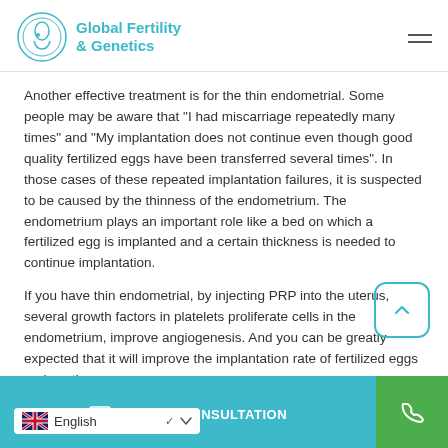Global Fertility & Genetics
Another effective treatment is for the thin endometrial. Some people may be aware that "I had miscarriage repeatedly many times" and "My implantation does not continue even though good quality fertilized eggs have been transferred several times". In those cases of these repeated implantation failures, it is suspected to be caused by the thinness of the endometrium. The endometrium plays an important role like a bed on which a fertilized egg is implanted and a certain thickness is needed to continue implantation.
If you have thin endometrial, by injecting PRP into the uterus, several growth factors in platelets proliferate cells in the endometrium, improve angiogenesis. And you can be greatly expected that it will improve the implantation rate of fertilized eggs and continue pregnancy.
Try to do IVF while the effect lasts
VIRTUAL CONSULTATION | English